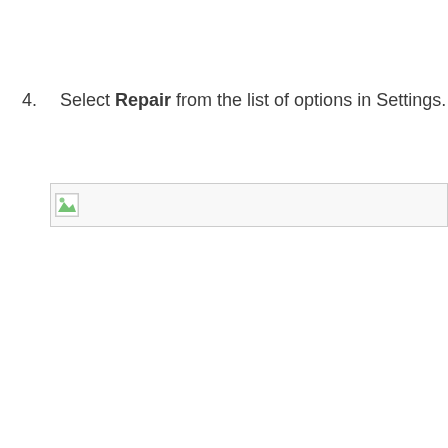4.  Select Repair from the list of options in Settings.
[Figure (screenshot): A broken/missing image placeholder showing a small icon with a green and white graphic in the top-left corner, inside a bordered rectangle.]